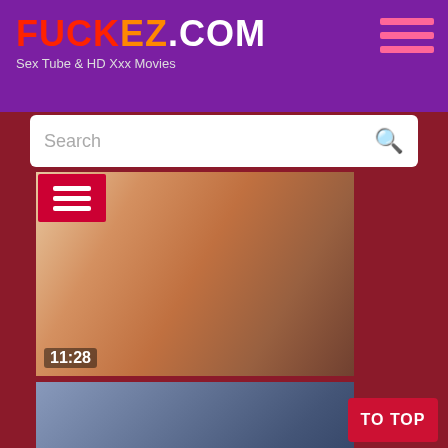FUCKEZ.COM - Sex Tube & HD Xxx Movies
[Figure (screenshot): Search bar with placeholder text 'Search' and magnifying glass icon]
[Figure (photo): Video thumbnail showing 11:28 duration]
[Figure (photo): Video thumbnail showing 9:10 duration with HD badge and PORNDOEPREMIUM.COM/xxxomas watermark]
[Figure (photo): Third video thumbnail partially visible at bottom]
TO TOP